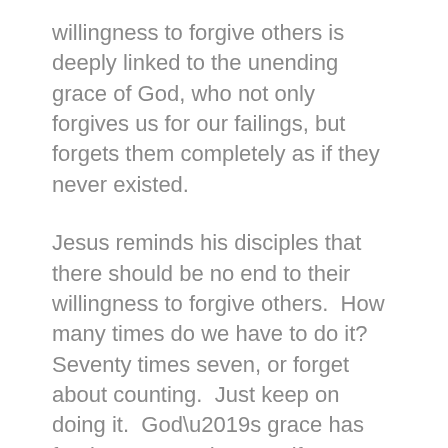willingness to forgive others is deeply linked to the unending grace of God, who not only forgives us for our failings, but forgets them completely as if they never existed.
Jesus reminds his disciples that there should be no end to their willingness to forgive others.  How many times do we have to do it?  Seventy times seven, or forget about counting.  Just keep on doing it.  God’s grace has forgiven us, made us as if we’d never sinned.  How can we, however imperfectly, do less?
In peace, Mother Lynda